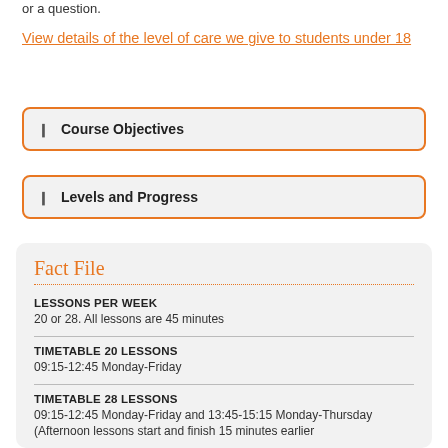or a question.
View details of the level of care we give to students under 18
Course Objectives
Levels and Progress
Fact File
LESSONS PER WEEK
20 or 28. All lessons are 45 minutes
TIMETABLE 20 LESSONS
09:15-12:45 Monday-Friday
TIMETABLE 28 LESSONS
09:15-12:45 Monday-Friday and 13:45-15:15 Monday-Thursday (Afternoon lessons start and finish 15 minutes earlier